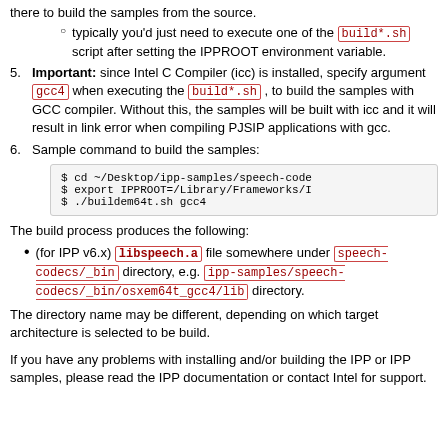there to build the samples from the source.
typically you'd just need to execute one of the build*.sh script after setting the IPPROOT environment variable.
Important: since Intel C Compiler (icc) is installed, specify argument gcc4 when executing the build*.sh , to build the samples with GCC compiler. Without this, the samples will be built with icc and it will result in link error when compiling PJSIP applications with gcc.
Sample command to build the samples:
$ cd ~/Desktop/ipp-samples/speech-code
$ export IPPROOT=/Library/Frameworks/I
$ ./buildem64t.sh gcc4
The build process produces the following:
(for IPP v6.x) libspeech.a file somewhere under speech-codecs/_bin directory, e.g. ipp-samples/speech-codecs/_bin/osxem64t_gcc4/lib directory.
The directory name may be different, depending on which target architecture is selected to be build.
If you have any problems with installing and/or building the IPP or IPP samples, please read the IPP documentation or contact Intel for support.